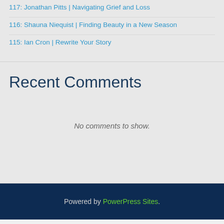117: Jonathan Pitts | Navigating Grief and Loss
116: Shauna Niequist | Finding Beauty in a New Season
115: Ian Cron | Rewrite Your Story
Recent Comments
No comments to show.
Powered by PowerPress Sites.